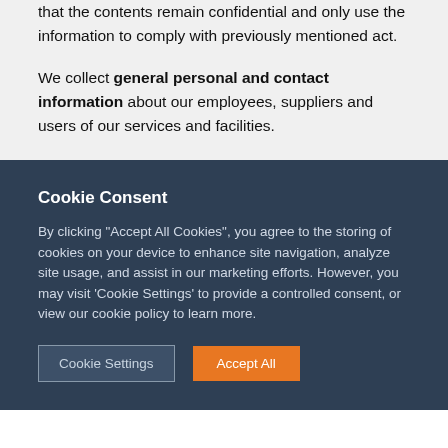that the contents remain confidential and only use the information to comply with previously mentioned act.
We collect general personal and contact information about our employees, suppliers and users of our services and facilities.
Cookie Consent
By clicking "Accept All Cookies", you agree to the storing of cookies on your device to enhance site navigation, analyze site usage, and assist in our marketing efforts. However, you may visit 'Cookie Settings' to provide a controlled consent, or view our cookie policy to learn more.
Cookie Settings | Accept All